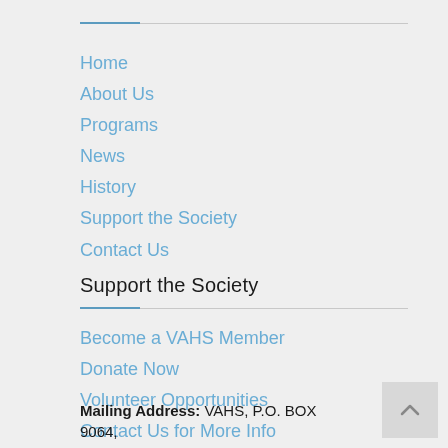Home
About Us
Programs
News
History
Support the Society
Contact Us
Support the Society
Become a VAHS Member
Donate Now
Volunteer Opportunities
Contact Us for More Info
Mailing Address: VAHS, P.O. BOX 9064,